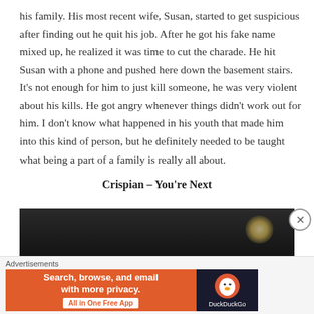his family. His most recent wife, Susan, started to get suspicious after finding out he quit his job. After he got his fake name mixed up, he realized it was time to cut the charade. He hit Susan with a phone and pushed here down the basement stairs. It’s not enough for him to just kill someone, he was very violent about his kills. He got angry whenever things didn’t work out for him. I don’t know what happened in his youth that made him into this kind of person, but he definitely needed to be taught what being a part of a family is really all about.
Crispian – You’re Next
[Figure (photo): Dark photograph showing silhouettes of people, with a warm lamp glow visible in the background right area.]
Advertisements
[Figure (screenshot): DuckDuckGo advertisement banner. Orange left section reads 'Search, browse, and email with more privacy.' with 'All in One Free App' button. Dark right section shows DuckDuckGo logo and name.]